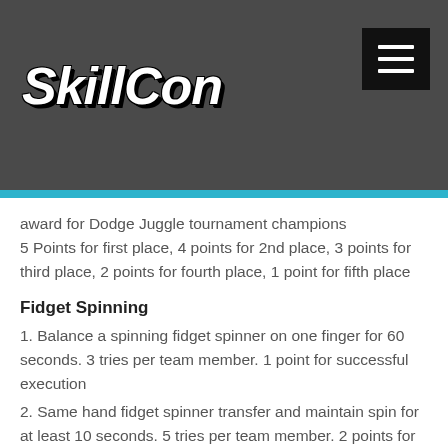SkillCon
award for Dodge Juggle tournament champions
5 Points for first place, 4 points for 2nd place, 3 points for third place, 2 points for fourth place, 1 point for fifth place
Fidget Spinning
1. Balance a spinning fidget spinner on one finger for 60 seconds. 3 tries per team member. 1 point for successful execution
2. Same hand fidget spinner transfer and maintain spin for at least 10 seconds. 5 tries per team member. 2 points for successful execution
3. Opposite hand fidget spinner transfer and maintain spin for at least 10 seconds. 5 tries per team member. 3